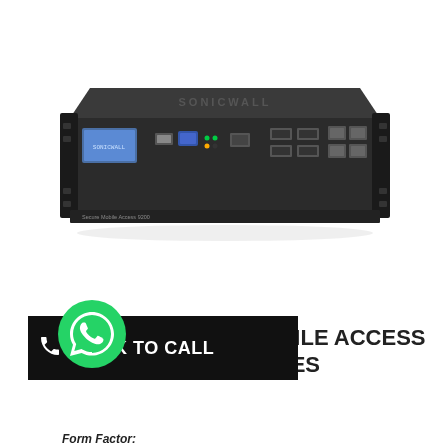[Figure (photo): SonicWall rack-mount network appliance / firewall hardware device, 1U form factor, dark grey chassis with front panel showing LCD display, USB port, RJ45 ports, and SFP ports]
[Figure (logo): WhatsApp green circle logo with white phone handset icon]
CLICK TO CALL
MOBILE ACCESS APPLIANCES
Form Factor: